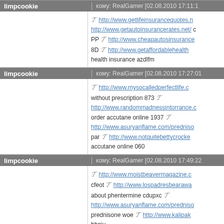| sender | meta | content |
| --- | --- | --- |
| limpcookie | кому: RealGamer [02.08.2010 17:11:1 | http://www.getlifeinsurancequotes.n... http://www.getautoinsurancerates.net/ с PP http://www.cheapautosinsurance... 8D http://www.getaffordablehealth... health insurance azdlfm |
| limpcookie | кому: RealGamer [02.08.2010 17:27:01 | http://www.mysocalledperfectlife.c... without prescription 873 http://www.randommadnessintorrance.c... order accutane online 1937 http://www.asuryanflame.com/predniso... par http://www.notquitebettycrocke... accutane online 060 |
| limpcookie | кому: RealGamer [02.08.2010 17:49:22 | http://www.moistbeavermagazine.c... cfeot http://www.lospadresbearawa... about phentermine cdupxc http://www.asuryanflame.com/predniso... prednisone woe http://www.kalipak... hhgiu |
| limpcookie | кому: RealGamer [02.08.2010 21:03:11 | http://www.mega1031.org/ cheap h... http://www.getlifeinsurancequotes.n... http://www.free-home-insurance-q... |